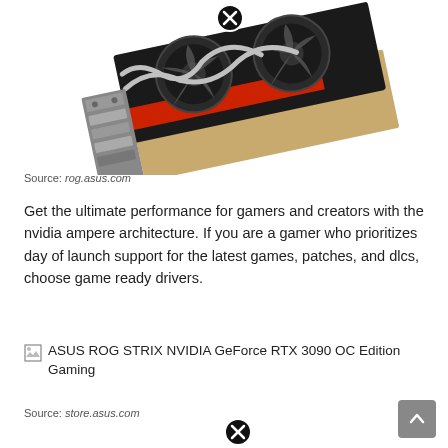[Figure (photo): ASUS ROG STRIX GPU graphics card shown at angle from front-left, with red accents, silver heat pipes, dual fans, and PCIe bracket visible. A circular close/cancel button overlay is in the upper center area.]
Source: rog.asus.com
Get the ultimate performance for gamers and creators with the nvidia ampere architecture. If you are a gamer who prioritizes day of launch support for the latest games, patches, and dlcs, choose game ready drivers.
[Figure (photo): Broken image placeholder for ASUS ROG STRIX NVIDIA GeForce RTX 3090 OC Edition Gaming]
Source: store.asus.com